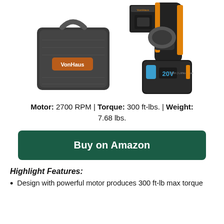[Figure (photo): VonHaus 20V cordless drill/driver with orange and black color scheme, shown with carrying bag and battery charger. The battery labeled 20V 3Ah Lithium-ion is visible on the drill.]
Motor: 2700 RPM | Torque: 300 ft-lbs. | Weight: 7.68 lbs.
Buy on Amazon
Highlight Features:
Design with powerful motor produces 300 ft-lb max torque